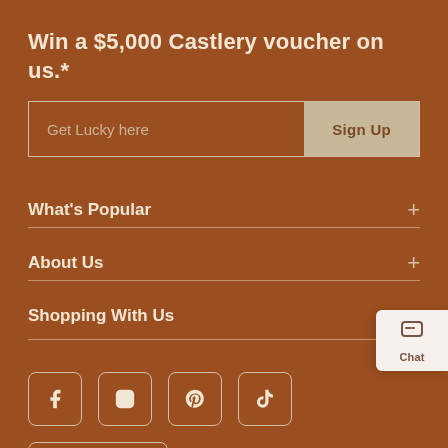Win a $5,000 Castlery voucher on us.*
[Figure (other): Email sign-up bar with placeholder text 'Get Lucky here' and a 'Sign Up' button]
What's Popular
About Us
Shopping With Us
[Figure (other): Social media icons: Facebook, Instagram, Pinterest, TikTok in outlined square boxes]
[Figure (other): Download on the App Store badge]